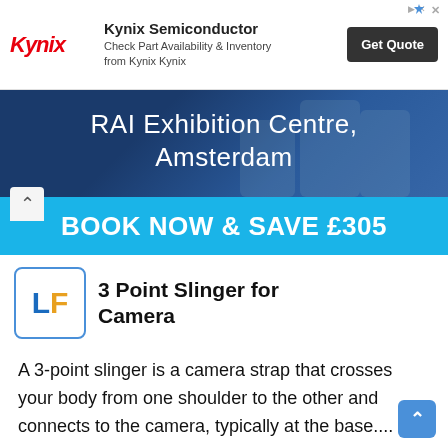[Figure (screenshot): Kynix Semiconductor advertisement banner with logo, text about checking part availability and inventory, and a Get Quote button]
[Figure (screenshot): RAI Exhibition Centre Amsterdam promotional banner with Book Now & Save £305 call to action in blue strip]
3 Point Slinger for Camera
A 3-point slinger is a camera strap that crosses your body from one shoulder to the other and connects to the camera, typically at the base....